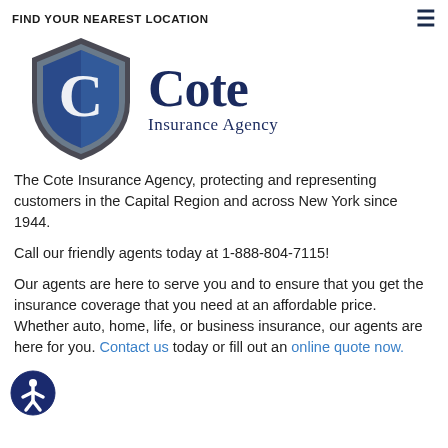FIND YOUR NEAREST LOCATION
[Figure (logo): Cote Insurance Agency logo — blue shield with letter C and company name]
The Cote Insurance Agency, protecting and representing customers in the Capital Region and across New York since 1944.
Call our friendly agents today at 1-888-804-7115!
Our agents are here to serve you and to ensure that you get the insurance coverage that you need at an affordable price. Whether auto, home, life, or business insurance, our agents are here for you. Contact us today or fill out an online quote now.